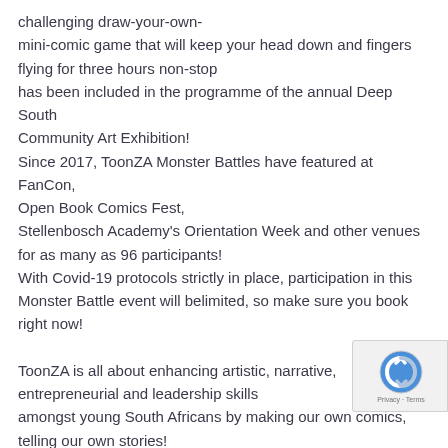challenging draw-your-own-
mini-comic game that will keep your head down and fingers
flying for three hours non-stop
has been included in the programme of the annual Deep South
Community Art Exhibition!
Since 2017, ToonZA Monster Battles have featured at FanCon,
Open Book Comics Fest,
Stellenbosch Academy's Orientation Week and other venues
for as many as 96 participants!
With Covid-19 protocols strictly in place, participation in this
Monster Battle event will belimited, so make sure you book
right now!

ToonZA is all about enhancing artistic, narrative,
entrepreneurial and leadership skills
amongst young South Africans by making our own comics,
telling our own stories!
This time round, you will have three hours to make yourself a
[Figure (other): reCAPTCHA badge with blue and grey logo, showing Privacy and Terms links]